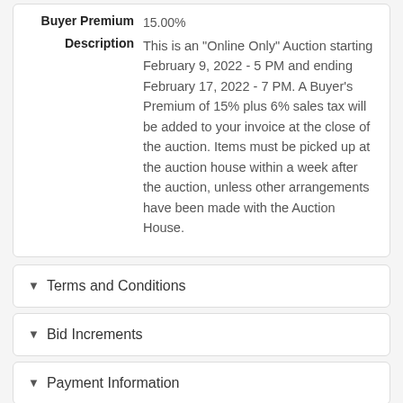Buyer Premium  15.00%
Description  This is an "Online Only" Auction starting February 9, 2022 - 5 PM and ending February 17, 2022 - 7 PM. A Buyer's Premium of 15% plus 6% sales tax will be added to your invoice at the close of the auction. Items must be picked up at the auction house within a week after the auction, unless other arrangements have been made with the Auction House.
Terms and Conditions
Bid Increments
Payment Information
Shipping / Pick Up